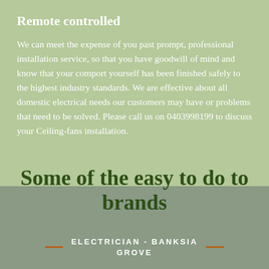Remote controlled
We can meet the expense of you past prompt, professional installation service, so that you have goodwill of mind and know that your comport yourself has been finished safely to the highest industry standards. We are effective about all domestic electrical needs our customers may have or problems that need to be solved. Please call us on 0403998199 to discuss your Ceiling-fans installation.
Some of the easy to do to brands
ELECTRICIAN - BANKSIA GROVE